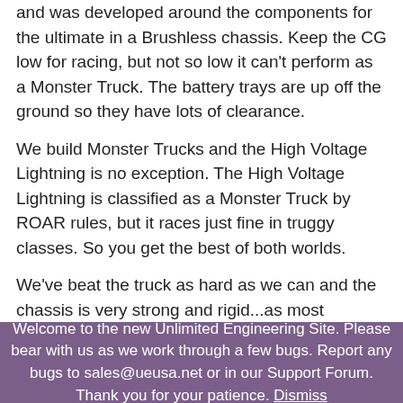and was developed around the components for the ultimate in a Brushless chassis. Keep the CG low for racing, but not so low it can't perform as a Monster Truck. The battery trays are up off the ground so they have lots of clearance.
We build Monster Trucks and the High Voltage Lightning is no exception. The High Voltage Lightning is classified as a Monster Truck by ROAR rules, but it races just fine in truggy classes. So you get the best of both worlds.
We've beat the truck as hard as we can and the chassis is very strong and rigid...as most monocoque chassis are, making it a great
Welcome to the new Unlimited Engineering Site. Please bear with us as we work through a few bugs. Report any bugs to sales@ueusa.net or in our Support Forum. Thank you for your patience. Dismiss